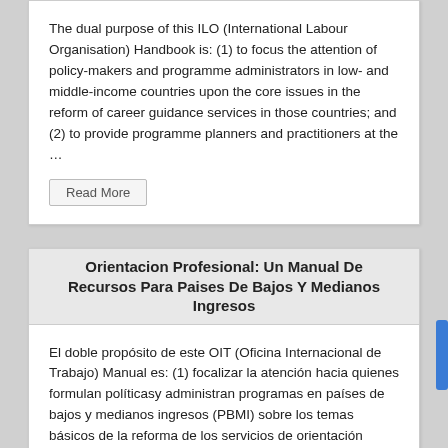The dual purpose of this ILO (International Labour Organisation) Handbook is: (1) to focus the attention of policy-makers and programme administrators in low- and middle-income countries upon the core issues in the reform of career guidance services in those countries; and (2) to provide programme planners and practitioners at the …
Read More
Orientacion Profesional: Un Manual De Recursos Para Paises De Bajos Y Medianos Ingresos
El doble propósito de este OIT (Oficina Internacional de Trabajo) Manual es: (1) focalizar la atención hacia quienes formulan políticasy administran programas en países de bajos y medianos ingresos (PBMI) sobre los temas básicos de la reforma de los servicios de orientación profesional en dichos países; y (2) brindar a los …